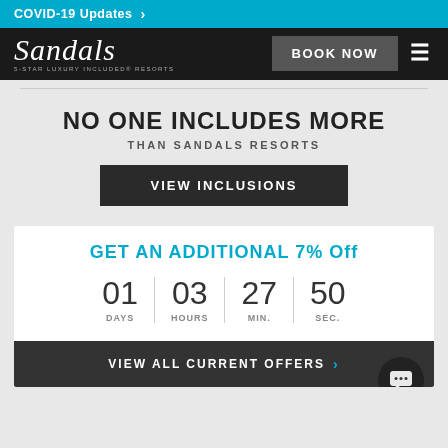COVID-19 Updates >
[Figure (logo): Sandals logo with tagline '5-STAR LUXURY INCLUDED RESORTS' and BOOK NOW button with hamburger menu]
NO ONE INCLUDES MORE THAN SANDALS RESORTS
VIEW INCLUSIONS
GET AN ADDITIONAL 7% Off
01 DAYS 03 HOURS 27 MIN. 50 SEC.
VIEW ALL CURRENT OFFERS >